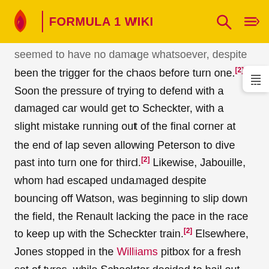FORMULA 1 WIKI
seemed to have no damage whatsoever, despite having been the trigger for the chaos before turn one.[2] Soon the pressure of trying to defend with a damaged car would get to Scheckter, with a slight mistake running out of the final corner at the end of lap seven allowing Peterson to dive past into turn one for third.[2] Likewise, Jabouille, whom had escaped undamaged despite bouncing off Watson, was beginning to slip down the field, the Renault lacking the pace in the race to keep up with the Scheckter train.[2] Elsewhere, Jones stopped in the Williams pitbox for a fresh set of tyres, while Scheckter decided to bail out of fourth and pit for repairs once Peterson pulled out of reach.[2] After that the race soon settled, with Andretti comfortably ahead of Villeneuve, Peterson unable to take more than a couple of